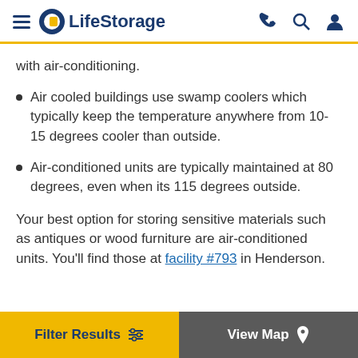LifeStorage — navigation header
with air-conditioning.
Air cooled buildings use swamp coolers which typically keep the temperature anywhere from 10-15 degrees cooler than outside.
Air-conditioned units are typically maintained at 80 degrees, even when its 115 degrees outside.
Your best option for storing sensitive materials such as antiques or wood furniture are air-conditioned units. You'll find those at facility #793 in Henderson.
Filter Results | View Map